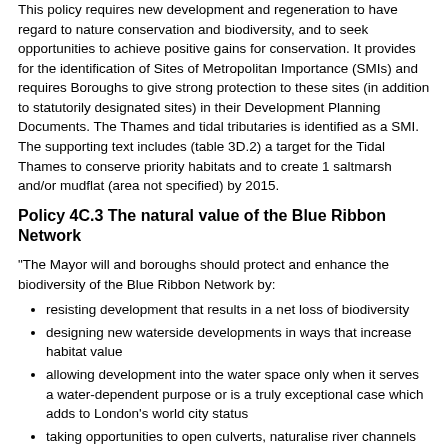This policy requires new development and regeneration to have regard to nature conservation and biodiversity, and to seek opportunities to achieve positive gains for conservation. It provides for the identification of Sites of Metropolitan Importance (SMIs) and requires Boroughs to give strong protection to these sites (in addition to statutorily designated sites) in their Development Planning Documents. The Thames and tidal tributaries is identified as a SMI. The supporting text includes (table 3D.2) a target for the Tidal Thames to conserve priority habitats and to create 1 saltmarsh and/or mudflat (area not specified) by 2015.
Policy 4C.3 The natural value of the Blue Ribbon Network
"The Mayor will and boroughs should protect and enhance the biodiversity of the Blue Ribbon Network by:
resisting development that results in a net loss of biodiversity
designing new waterside developments in ways that increase habitat value
allowing development into the water space only when it serves a water-dependent purpose or is a truly exceptional case which adds to London's world city status
taking opportunities to open culverts, naturalise river channels
protecting the value of the foreshore of the River Thames"
Click here to download the full document (opens in a new window).
Under the proposed Replacement Plan new policies will be adopted...